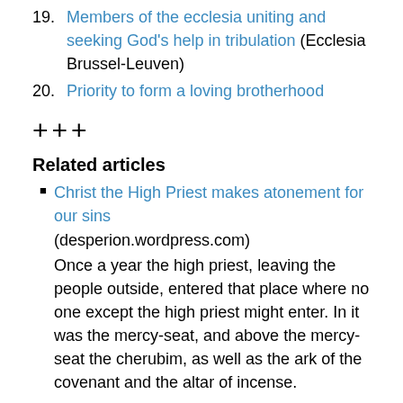19. Members of the ecclesia uniting and seeking God's help in tribulation (Ecclesia Brussel-Leuven)
20. Priority to form a loving brotherhood
+++
Related articles
Christ the High Priest makes atonement for our sins (desperion.wordpress.com) Once a year the high priest, leaving the people outside, entered that place where no one except the high priest might enter. In it was the mercy-seat, and above the mercy-seat the cherubim, as well as the ark of the covenant and the altar of incense. +
God taught the people of the old covenant how to